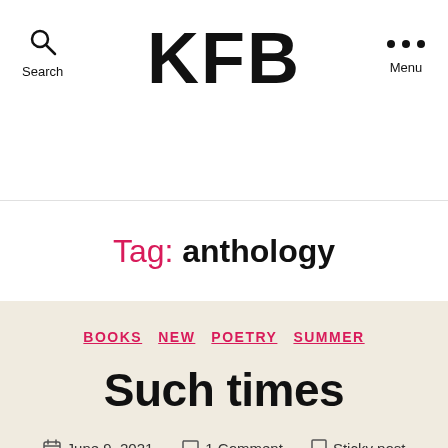KFB
Tag: anthology
BOOKS  NEW  POETRY  SUMMER
Such times
June 9, 2021   1 Comment   Sticky post